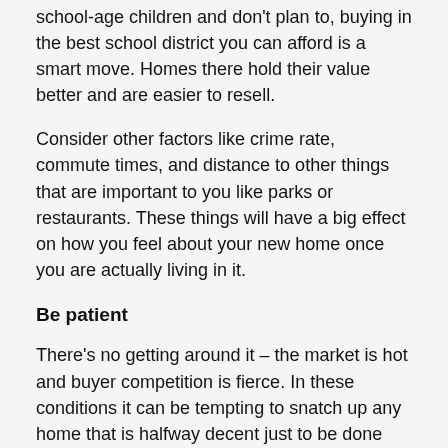school-age children and don't plan to, buying in the best school district you can afford is a smart move. Homes there hold their value better and are easier to resell.
Consider other factors like crime rate, commute times, and distance to other things that are important to you like parks or restaurants. These things will have a big effect on how you feel about your new home once you are actually living in it.
Be patient
There's no getting around it – the market is hot and buyer competition is fierce. In these conditions it can be tempting to snatch up any home that is halfway decent just to be done with it. Unsurprisingly, homes bought with that rushed mentality don't always live up to their hype down the line.
Even if things are moving quickly, make sure you take the